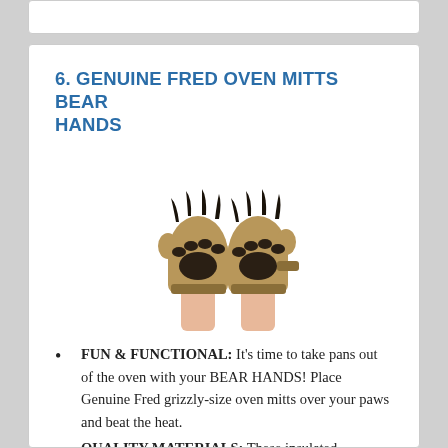6. GENUINE FRED OVEN MITTS BEAR HANDS
[Figure (photo): Two bear paw oven mitts being worn on hands raised upward, showing dark brown/black claw and pad details on tan/khaki colored mitts]
FUN & FUNCTIONAL: It’s time to take pans out of the oven with your BEAR HANDS! Place Genuine Fred grizzly-size oven mitts over your paws and beat the heat.
QUALITY MATERIALS: These insulated